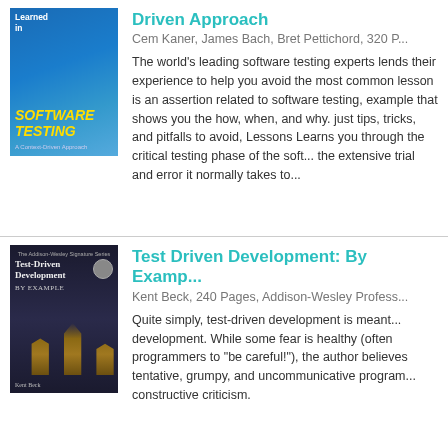[Figure (illustration): Book cover: Lessons Learned in Software Testing - A Context-Driven Approach, blue cover with abstract shapes]
Driven Approach
Cem Kaner, James Bach, Bret Pettichord, 320 P...
The world's leading software testing experts lend their experience to help you avoid the most common... lesson is an assertion related to software testing... example that shows you the how, when, and wh... just tips, tricks, and pitfalls to avoid, Lessons Le... you through the critical testing phase of the so... the extensive trial and error it normally takes to...
[Figure (illustration): Book cover: Test-Driven Development By Example by Kent Beck, dark cover with building/cathedral]
Test Driven Development: By Examp...
Kent Beck, 240 Pages, Addison-Wesley Profess...
Quite simply, test-driven development is meant... development. While some fear is healthy (often... programmers to "be careful!"), the author belie... tentative, grumpy, and uncommunicative progr... constructive criticism.